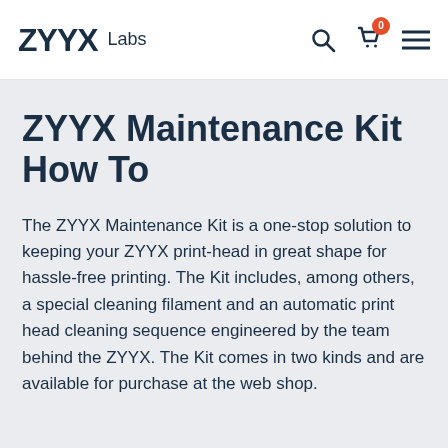ZYYX Labs
ZYYX Maintenance Kit How To
The ZYYX Maintenance Kit is a one-stop solution to keeping your ZYYX print-head in great shape for hassle-free printing. The Kit includes, among others, a special cleaning filament and an automatic print head cleaning sequence engineered by the team behind the ZYYX. The Kit comes in two kinds and are available for purchase at the web shop.